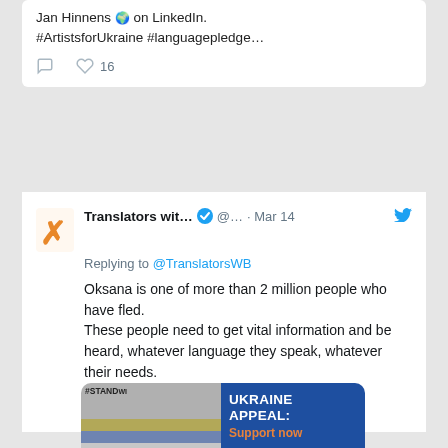Jan Hinnens on LinkedIn: #ArtistsforUkraine #languagepledge...
16 likes
Translators wit... @... · Mar 14
Replying to @TranslatorsWB
Oksana is one of more than 2 million people who have fled.
These people need to get vital information and be heard, whatever language they speak, whatever their needs.
Please donate to our urgent appeal.
clearglobal.org/donate  18/18
[Figure (photo): Ukraine Appeal donation campaign image with protest sign reading #STANDUP and blue banner reading 'UKRAINE APPEAL: Support now']